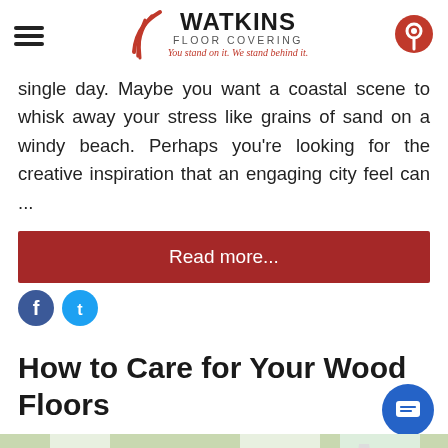[Figure (logo): Watkins Floor Covering logo with swoosh graphic, company name, and tagline 'You stand on it. We stand behind it.']
single day. Maybe you want a coastal scene to whisk away your stress like grains of sand on a windy beach. Perhaps you're looking for the creative inspiration that an engaging city feel can ...
Read more...
How to Care for Your Wood Floors
[Figure (photo): Living room with wood floors, sofa with dark cushions, large windows with green foliage outside]